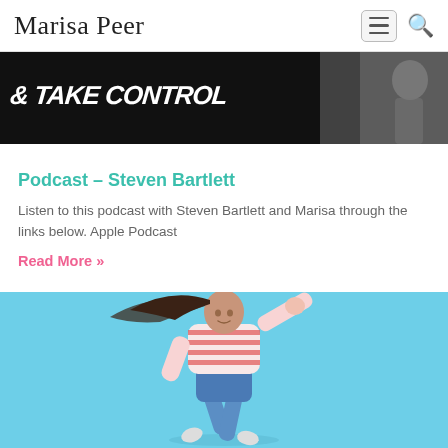Marisa Peer
[Figure (photo): Dark background image with white bold italic text reading '& TAKE CONTROL' and a person visible on the right side]
Podcast – Steven Bartlett
Listen to this podcast with Steven Bartlett and Marisa through the links below. Apple Podcast
Read More »
[Figure (photo): Woman in red and white striped shirt and jeans jumping energetically against a light blue background, hair flying behind her]